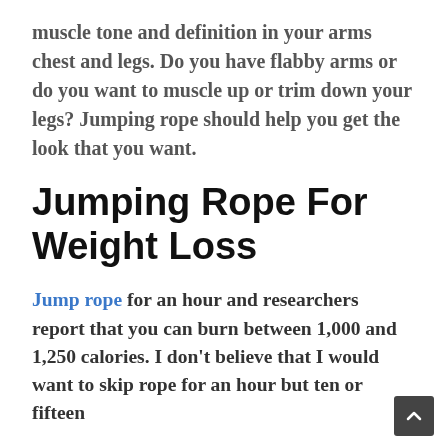muscle tone and definition in your arms chest and legs. Do you have flabby arms or do you want to muscle up or trim down your legs? Jumping rope should help you get the look that you want.
Jumping Rope For Weight Loss
Jump rope for an hour and researchers report that you can burn between 1,000 and 1,250 calories. I don't believe that I would want to skip rope for an hour but ten or fifteen